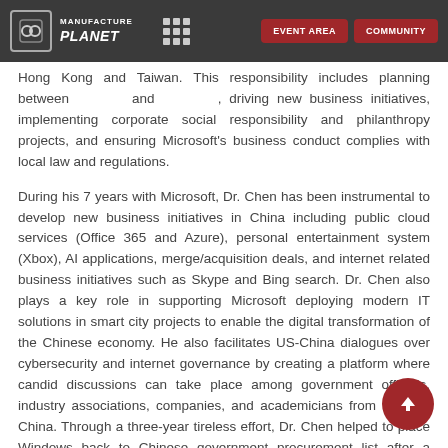Manufacture Planet | EVENT AREA | COMMUNITY
Hong Kong and Taiwan. This responsibility includes planning between and , driving new business initiatives, implementing corporate social responsibility and philanthropy projects, and ensuring Microsoft's business conduct complies with local law and regulations.
During his 7 years with Microsoft, Dr. Chen has been instrumental to develop new business initiatives in China including public cloud services (Office 365 and Azure), personal entertainment system (Xbox), AI applications, merge/acquisition deals, and internet related business initiatives such as Skype and Bing search. Dr. Chen also plays a key role in supporting Microsoft deploying modern IT solutions in smart city projects to enable the digital transformation of the Chinese economy. He also facilitates US-China dialogues over cybersecurity and internet governance by creating a platform where candid discussions can take place among government officials, industry associations, companies, and academicians from US and China. Through a three-year tireless effort, Dr. Chen helped to place Windows back to Chinese government procurement list after a rigorous cybersecurity review. Dr. Chen also led the Microsoft China team through the anti-trust investigations.